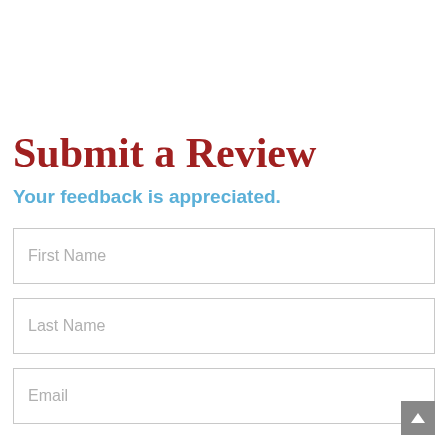Submit a Review
Your feedback is appreciated.
First Name
Last Name
Email